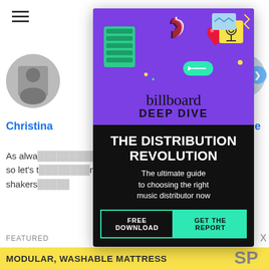[Figure (screenshot): Background webpage showing hamburger menu icon, circular profile photos, navigation names 'Christina' and 'Boyle' in blue, partial article text, and a yellow bottom bar with 'MODULAR, WASHABLE MATTRESS' text]
[Figure (infographic): Billboard Deep Dive modal advertisement overlay. Purple top section with social media icons illustration (TikTok, heart, satellite dish, etc.), billboard logo, 'DEEP DIVE' text. Black bottom section with 'THE DISTRIBUTION REVOLUTION' headline, subtitle 'The ultimate guide to choosing the right music distributor now', and a teal CTA button row: 'FREE DOWNLOAD | GET THE REPORT'. Close X button in top right.]